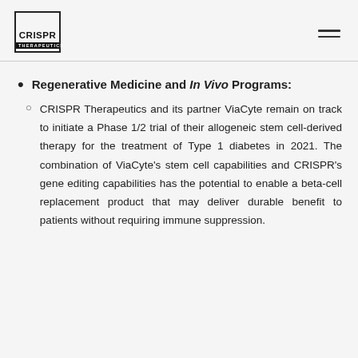CRISPR THERAPEUTICS
Regenerative Medicine and In Vivo Programs:
CRISPR Therapeutics and its partner ViaCyte remain on track to initiate a Phase 1/2 trial of their allogeneic stem cell-derived therapy for the treatment of Type 1 diabetes in 2021. The combination of ViaCyte's stem cell capabilities and CRISPR's gene editing capabilities has the potential to enable a beta-cell replacement product that may deliver durable benefit to patients without requiring immune suppression.